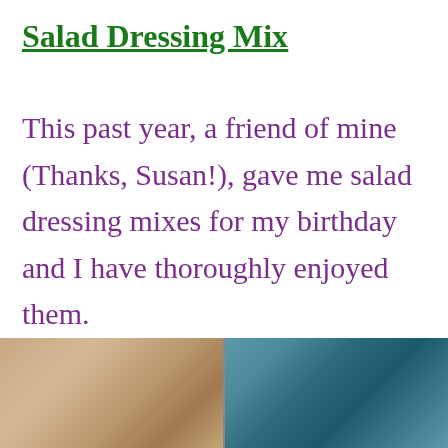Salad Dressing Mix
This past year, a friend of mine (Thanks, Susan!), gave me salad dressing mixes for my birthday and I have thoroughly enjoyed them.
[Figure (photo): Two glass jars containing salad dressing mixes, left jar shows brownish dry mix, right jar has a teal/green tint with dry mix inside.]